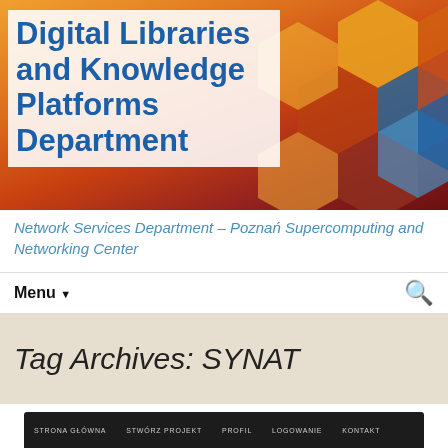Digital Libraries and Knowledge Platforms Department
Network Services Department – Poznań Supercomputing and Networking Center
Menu
Tag Archives: SYNAT
[Figure (screenshot): Screenshot of a Polish web application with navigation bar containing: STRONA GŁÓWNA, STWÓRZ PROJEKT, PROFIL, LOGOWANIE, KONTAKT. Below shows circular thumbnail images including text 'NOWI', 'obpráwit...', and 'Projekt' label. Social sharing buttons (Tweet, Like) visible on right side.]